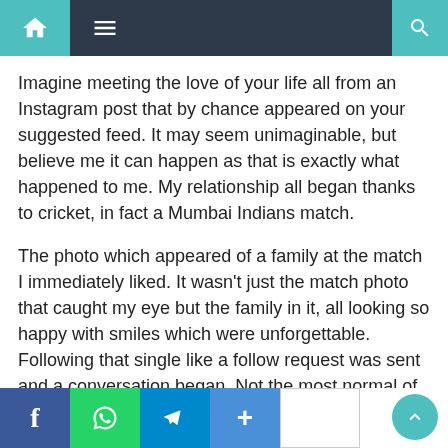Navigation bar with home, menu, and search icons
Imagine meeting the love of your life all from an Instagram post that by chance appeared on your suggested feed. It may seem unimaginable, but believe me it can happen as that is exactly what happened to me. My relationship all began thanks to cricket, in fact a Mumbai Indians match.
The photo which appeared of a family at the match I immediately liked. It wasn’t just the match photo that caught my eye but the family in it, all looking so happy with smiles which were unforgettable. Following that single like a follow request was sent and a conversation began. Not the most normal of starts, but then I wouldn’t expect anything less. Nothing about us is normal and that is what makes us “us”. We have our own normal, something that many do not [understand] just [because] but are at the same time [en]vi[ous] of.
Social share bar: Facebook, WhatsApp, Telegram, Plus, blank